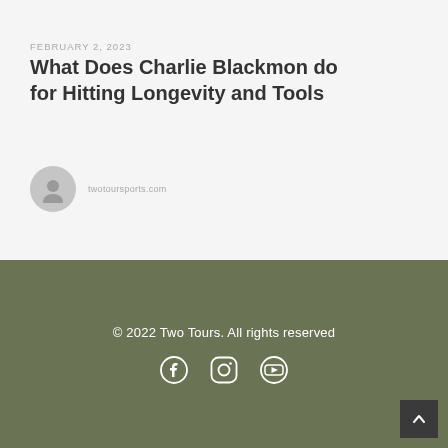FEBRUARY 2, 2023
What Does Charlie Blackmon do for Hitting Longevity and Tools
twotoursports.com
© 2022 Two Tours. All rights reserved
[Figure (illustration): Social media icons: Facebook, Instagram, YouTube]